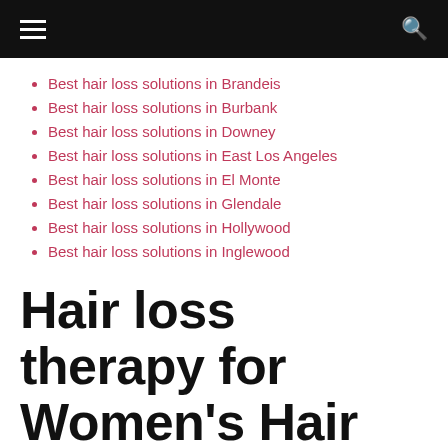Navigation bar with hamburger menu and search icon
Best hair loss solutions in Brandeis
Best hair loss solutions in Burbank
Best hair loss solutions in Downey
Best hair loss solutions in East Los Angeles
Best hair loss solutions in El Monte
Best hair loss solutions in Glendale
Best hair loss solutions in Hollywood
Best hair loss solutions in Inglewood
Hair loss therapy for Women's Hair Loss in Universal City, California